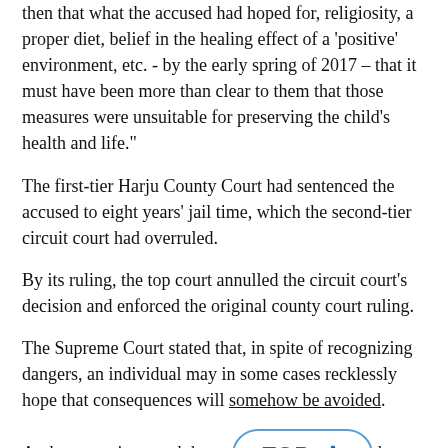then that what the accused had hoped for, religiosity, a proper diet, belief in the healing effect of a 'positive' environment, etc. - by the early spring of 2017 – that it must have been more than clear to them that those measures were unsuitable for preserving the child's health and life."
The first-tier Harju County Court had sentenced the accused to eight years' jail time, which the second-tier circuit court had overruled.
By its ruling, the top court annulled the circuit court's decision and enforced the original county court ruling.
The Supreme Court stated that, in spite of recognizing dangers, an individual may in some cases recklessly hope that consequences will somehow be avoided.
At the same time, such hope [TOP button overlaps] based on specific, reasonable facts, the court found